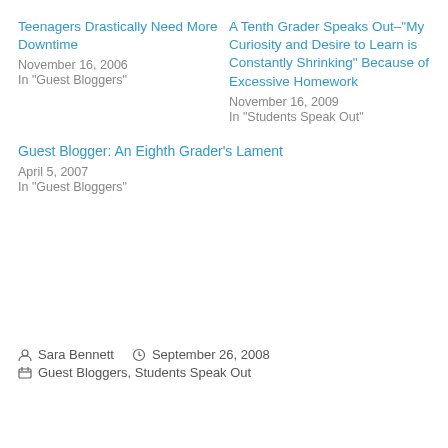Teenagers Drastically Need More Downtime
November 16, 2006
In "Guest Bloggers"
A Tenth Grader Speaks Out–"My Curiosity and Desire to Learn is Constantly Shrinking" Because of Excessive Homework
November 16, 2009
In "Students Speak Out"
Guest Blogger: An Eighth Grader's Lament
April 5, 2007
In "Guest Bloggers"
Sara Bennett   September 26, 2008
Guest Bloggers, Students Speak Out